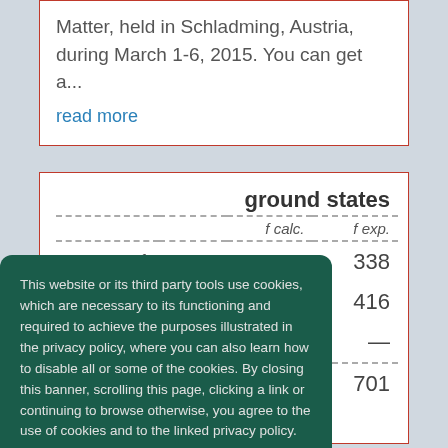Matter, held in Schladming, Austria, during March 1-6, 2015. You can get a...
read more
| ground states |  | f calc. | f exp. |
| --- | --- | --- | --- |
| 1 | 338 |
| 0 | 416 |
| 3 | — |
| 8 | 701 |
This website or its third party tools use cookies, which are necessary to its functioning and required to achieve the purposes illustrated in the privacy policy, where you can also learn how to disable all or some of the cookies. By closing this banner, scrolling this page, clicking a link or continuing to browse otherwise, you agree to the use of cookies and to the linked privacy policy.
Privacy Policy
I Agree!